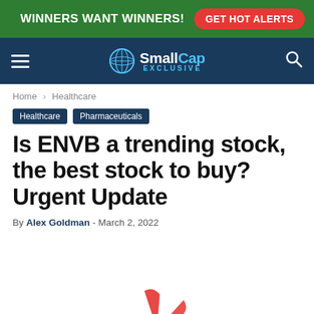[Figure (other): Green advertisement banner with text WINNERS WANT WINNERS! and a red GET HOT ALERTS button]
SmallCap EXCLUSIVE — navigation bar with hamburger menu, globe logo, and search icon
Home › Healthcare
Healthcare  Pharmaceuticals
Is ENVB a trending stock, the best stock to buy? Urgent Update
By Alex Goldman - March 2, 2022
[Figure (logo): Partial red star/pinwheel logo at bottom center of page]